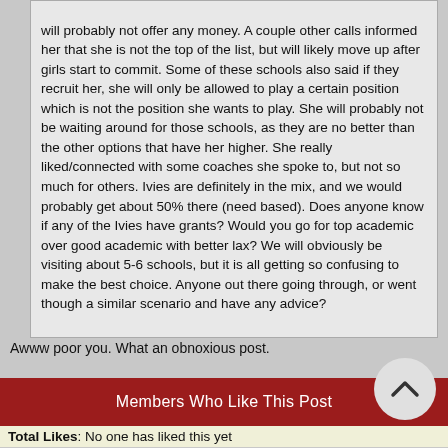will probably not offer any money. A couple other calls informed her that she is not the top of the list, but will likely move up after girls start to commit. Some of these schools also said if they recruit her, she will only be allowed to play a certain position which is not the position she wants to play. She will probably not be waiting around for those schools, as they are no better than the other options that have her higher. She really liked/connected with some coaches she spoke to, but not so much for others. Ivies are definitely in the mix, and we would probably get about 50% there (need based). Does anyone know if any of the Ivies have grants? Would you go for top academic over good academic with better lax? We will obviously be visiting about 5-6 schools, but it is all getting so confusing to make the best choice. Anyone out there going through, or went though a similar scenario and have any advice?
Awww poor you. What an obnoxious post.
Members Who Like This Post
Total Likes: No one has liked this yet